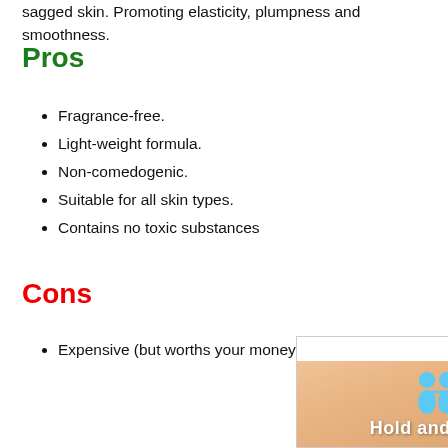sagged skin. Promoting elasticity, plumpness and smoothness.
Pros
Fragrance-free.
Light-weight formula.
Non-comedogenic.
Suitable for all skin types.
Contains no toxic substances
Cons
Expensive (but worths your money).
[Figure (other): Advertisement banner showing 'Hold and Move' with cartoon figures, close and help buttons]